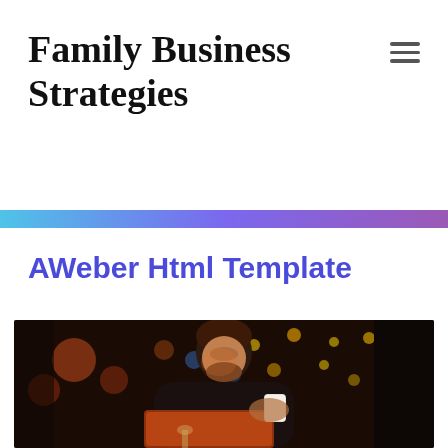Family Business Strategies
AWeber Html Template
[Figure (photo): A bearded man with short brown hair sits in a dimly lit café/bar at night, looking down at an open laptop, holding a white coffee cup. Bokeh colored lights (Christmas/festive lights) are visible in the dark background. The scene has warm reddish-brown tones from the laptop glow.]